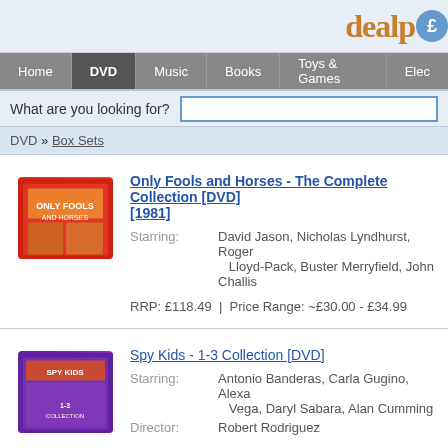dealp£
[Figure (screenshot): Navigation bar with tabs: Home, DVD (active), Music, Books, Toys & Games, Elec...]
[Figure (screenshot): Search bar with label 'What are you looking for?' and text input field]
DVD » Box Sets
[Figure (photo): Only Fools and Horses DVD box set product image - red box]
Only Fools and Horses - The Complete Collection [DVD] [1981]
Starring: David Jason, Nicholas Lyndhurst, Roger Lloyd-Pack, Buster Merryfield, John Challis
RRP: £118.49 | Price Range: ~£30.00 - £34.99
[Figure (photo): Spy Kids 1-3 Collection DVD product image]
Spy Kids - 1-3 Collection [DVD]
Starring: Antonio Banderas, Carla Gugino, Alexa Vega, Daryl Sabara, Alan Cumming
Director: Robert Rodriguez
RRP: £29.99 | Price: £5.00